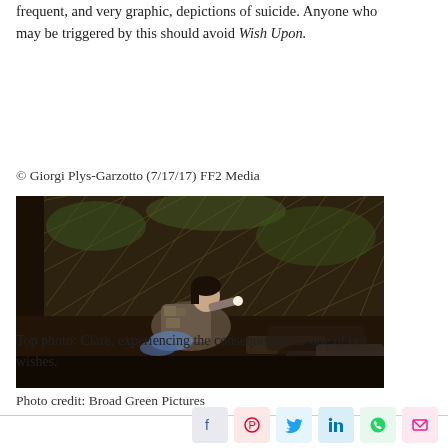frequent, and very graphic, depictions of suicide. Anyone who may be triggered by this should avoid Wish Upon.
© Giorgi Plys-Garzotto (7/17/17) FF2 Media
[Figure (photo): A young woman crouching down in a dark wooden structure, shining a flashlight on the ground. Dark, atmospheric scene from the film Wish Upon.]
Photo credit: Broad Green Pictures
Top photo: Clare, experiencing the consequences of one of her wishes.